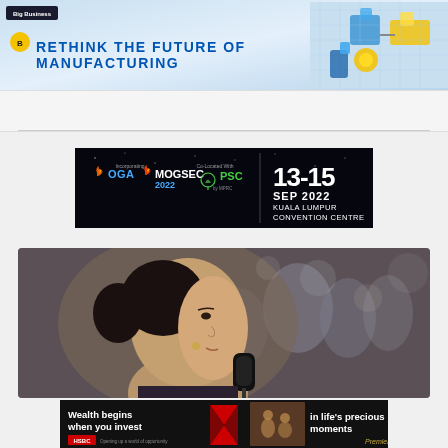[Figure (infographic): Top banner ad: 'Rethink The Future Of Manufacturing' with blue text on light blue background, manufacturing robot illustration on right, small yellow logo icon on left, Big Business branding label top-left]
[Figure (infographic): OGA MOGSEC 2022 PSC event banner on dark background showing dates 13-15 Sep 2022 Kuala Lumpur Convention Centre]
[Figure (photo): News article photo: Close-up of a woman speaking into a microphone, appearing to be an Asian political figure, with blurred crowd in background]
[Figure (infographic): HSBC Premier bank advertisement: 'Wealth begins when you invest in life's precious moments' with HSBC logo and 'Opening up a world of opportunity' tagline, 'Premier' label on right]